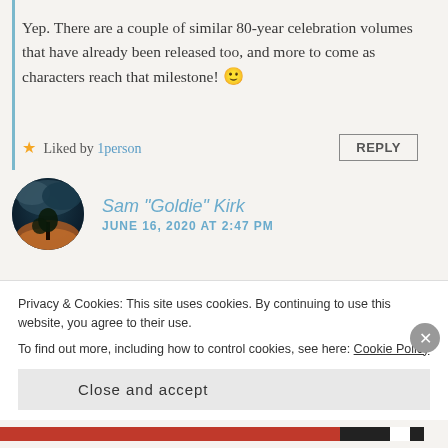Yep. There are a couple of similar 80-year celebration volumes that have already been released too, and more to come as characters reach that milestone! 🙂
★ Liked by 1person  REPLY
Sam "Goldie" Kirk
JUNE 16, 2020 AT 2:47 PM
So what did you deduct the star for?
What do you do with all the copies you receive. I
Privacy & Cookies: This site uses cookies. By continuing to use this website, you agree to their use.
To find out more, including how to control cookies, see here: Cookie Policy
Close and accept